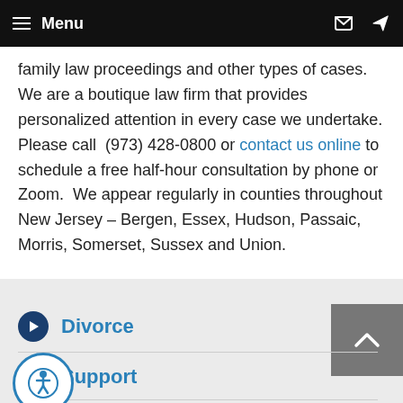≡ Menu
family law proceedings and other types of cases. We are a boutique law firm that provides personalized attention in every case we undertake. Please call (973) 428-0800 or contact us online to schedule a free half-hour consultation by phone or Zoom. We appear regularly in counties throughout New Jersey – Bergen, Essex, Hudson, Passaic, Morris, Somerset, Sussex and Union.
Divorce
Support